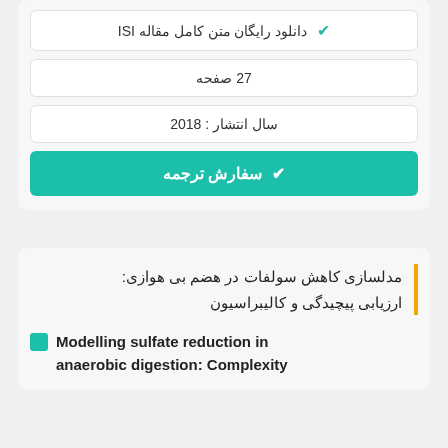✔ دانلود رایگان متن کامل مقاله ISI
27 صفحه
سال انتشار : 2018
✔ سفارش ترجمه
مدلسازی کاهش سولفات در هضم بی هوازی: ارزیابی پیچیدگی و کالیبراسیون
Modelling sulfate reduction in anaerobic digestion: Complexity